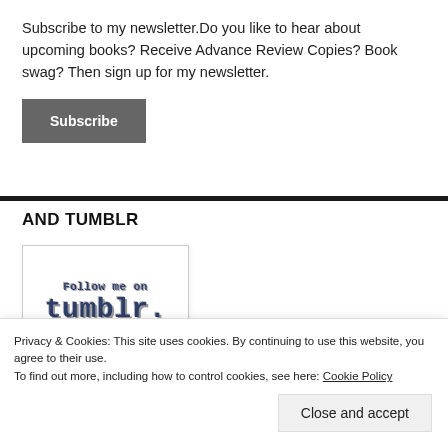Subscribe to my newsletter.Do you like to hear about upcoming books? Receive Advance Review Copies? Book swag? Then sign up for my newsletter.
[Figure (other): Subscribe button — dark grey rectangular button with white bold text 'Subscribe']
AND TUMBLR
[Figure (illustration): Follow me on tumblr. badge — white card with shadow, styled text 'Follow me on' and 'tumblr.' in bold serif monospace with dark outline effect]
Privacy & Cookies: This site uses cookies. By continuing to use this website, you agree to their use.
To find out more, including how to control cookies, see here: Cookie Policy
Close and accept